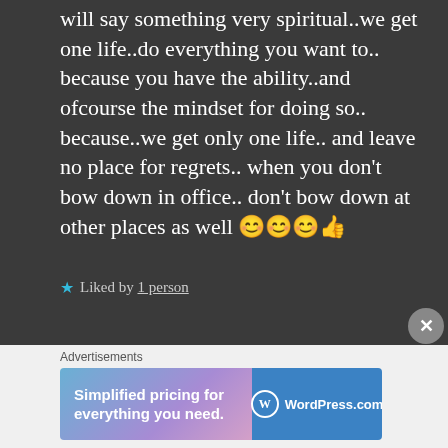will say something very spiritual..we get one life..do everything you want to.. because you have the ability..and ofcourse the mindset for doing so.. because..we get only one life.. and leave no place for regrets.. when you don't bow down in office.. don't bow down at other places as well 😊😊😊👍
★ Liked by 1 person
Advertisements
[Figure (screenshot): WordPress.com advertisement banner: 'Simplified pricing for everything you need.' with WordPress.com logo on blue background]